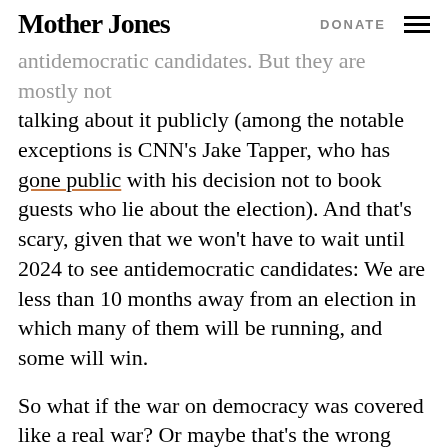Mother Jones | DONATE
antidemocratic candidates. But they are mostly not talking about it publicly (among the notable exceptions is CNN's Jake Tapper, who has gone public with his decision not to book guests who lie about the election). And that's scary, given that we won't have to wait until 2024 to see antidemocratic candidates: We are less than 10 months away from an election in which many of them will be running, and some will win.
So what if the war on democracy was covered like a real war? Or maybe that's the wrong simile, given how little attention we paid to the war in Afghanistan until it finally ended. What if we covered a wave of election rigging from coast to